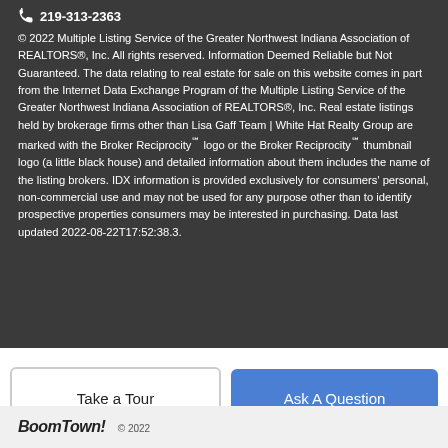219-313-2363
© 2022 Multiple Listing Service of the Greater Northwest Indiana Association of REALTORS®, Inc. All rights reserved. Information Deemed Reliable but Not Guaranteed. The data relating to real estate for sale on this website comes in part from the Internet Data Exchange Program of the Multiple Listing Service of the Greater Northwest Indiana Association of REALTORS®, Inc. Real estate listings held by brokerage firms other than Lisa Gaff Team | White Hat Realty Group are marked with the Broker Reciprocity℠ logo or the Broker Reciprocity℠ thumbnail logo (a little black house) and detailed information about them includes the name of the listing brokers. IDX information is provided exclusively for consumers' personal, non-commercial use and may not be used for any purpose other than to identify prospective properties consumers may be interested in purchasing. Data last updated 2022-08-22T17:52:38.3.
BoomTown! © 2022
Take a Tour
Ask A Question